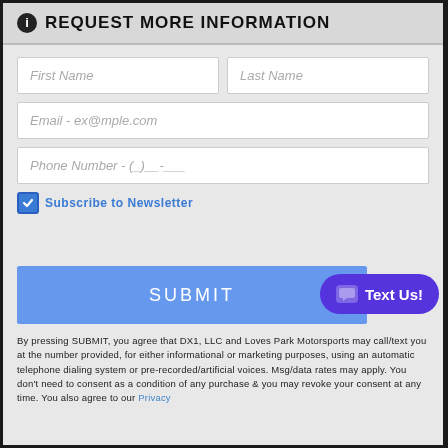REQUEST MORE INFORMATION
First Name
Last Name
Email - ex@mple.com
Phone Number - (_)__-___
Subscribe to Newsletter
SUBMIT
Text Us!
By pressing SUBMIT, you agree that DX1, LLC and Loves Park Motorsports may call/text you at the number provided, for either informational or marketing purposes, using an automatic telephone dialing system or pre-recorded/artificial voices. Msg/data rates may apply. You don't need to consent as a condition of any purchase & you may revoke your consent at any time. You also agree to our Privacy